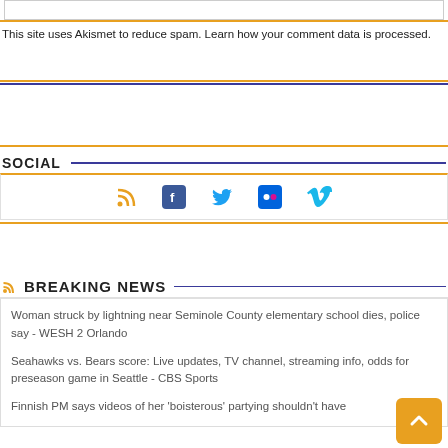This site uses Akismet to reduce spam. Learn how your comment data is processed.
SOCIAL
[Figure (other): Social media icons: RSS, Facebook, Twitter, Flickr, Vimeo]
BREAKING NEWS
Woman struck by lightning near Seminole County elementary school dies, police say - WESH 2 Orlando
Seahawks vs. Bears score: Live updates, TV channel, streaming info, odds for preseason game in Seattle - CBS Sports
Finnish PM says videos of her 'boisterous' partying shouldn't have been made public - CNN